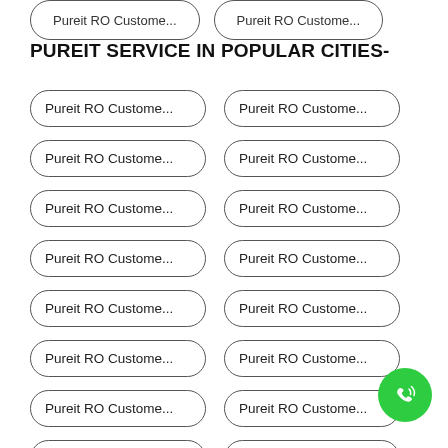Pureit RO Custome...
Pureit RO Custome...
PUREIT SERVICE IN POPULAR CITIES-
Pureit RO Custome...
Pureit RO Custome...
Pureit RO Custome...
Pureit RO Custome...
Pureit RO Custome...
Pureit RO Custome...
Pureit RO Custome...
Pureit RO Custome...
Pureit RO Custome...
Pureit RO Custome...
Pureit RO Custome...
Pureit RO Custome...
Pureit RO Custome...
Pureit RO Custome...
Pureit RO Custome...
Pureit RO Custome...